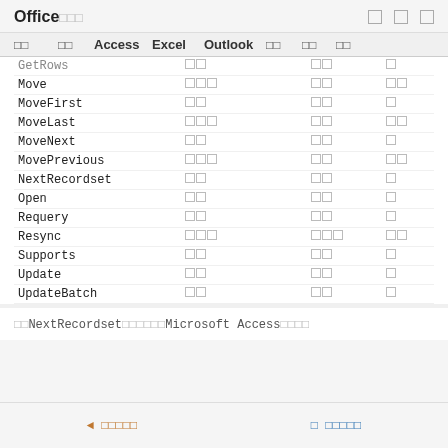Office
|  |  | Access | Excel | Outlook |  |  |  |
| --- | --- | --- | --- | --- | --- | --- | --- |
| GetRows |  | □□ |  | □□ |  |
| Move |  | □□□ |  | □□ | □□ |
| MoveFirst |  | □□ |  | □□ | □ |
| MoveLast |  | □□□ |  | □□ | □□ |
| MoveNext |  | □□ |  | □□ | □ |
| MovePrevious |  | □□□ |  | □□ | □□ |
| NextRecordset |  | □□ |  | □□ | □ |
| Open |  | □□ |  | □□ | □ |
| Requery |  | □□ |  | □□ | □ |
| Resync |  | □□□ |  | □□□ | □□ |
| Supports |  | □□ |  | □□ | □ |
| Update |  | □□ |  | □□ | □ |
| UpdateBatch |  | □□ |  | □□ | □ |
※NextRecordsetメソッドはMicrosoft Accessでは使えません。
◄ 前のページ　　　　次のページ ►